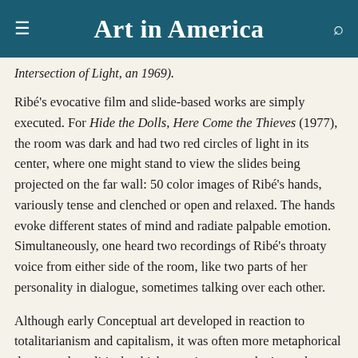Art in America
Intersection of Light, an 1969).
Ribé's evocative film and slide-based works are simply executed. For Hide the Dolls, Here Come the Thieves (1977), the room was dark and had two red circles of light in its center, where one might stand to view the slides being projected on the far wall: 50 color images of Ribé's hands, variously tense and clenched or open and relaxed. The hands evoke different states of mind and radiate palpable emotion. Simultaneously, one heard two recordings of Ribé's throaty voice from either side of the room, like two parts of her personality in dialogue, sometimes talking over each other.
Although early Conceptual art developed in reaction to totalitarianism and capitalism, it was often more metaphorical than overtly political, which gave it a poetry that's nowhere more evident than in Ribé's work. There is